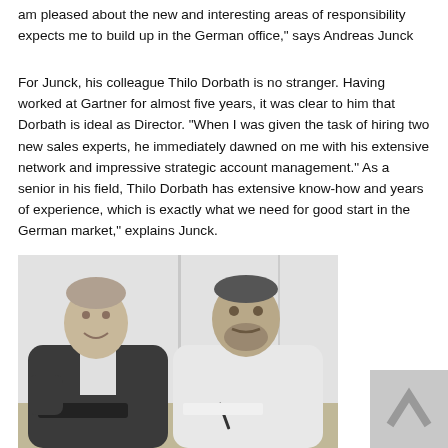am pleased about the new and interesting areas of responsibility expects me to build up in the German office," says Andreas Junck
For Junck, his colleague Thilo Dorbath is no stranger. Having worked at Gartner for almost five years, it was clear to him that Dorbath is ideal as Director. "When I was given the task of hiring two new sales experts, he immediately dawned on me with his extensive network and impressive strategic account management." As a senior in his field, Thilo Dorbath has extensive know-how and years of experience, which is exactly what we need for good start in the German market," explains Junck.
[Figure (photo): Black and white photograph of two men seated at a table. The man on the left wears a dark suit jacket and is smiling. The man on the right wears a white shirt and appears to be writing.]